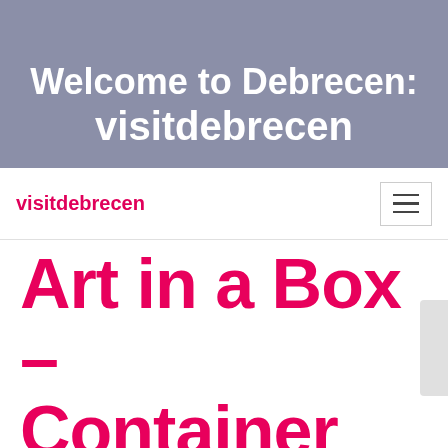Welcome to Debrecen: visitdebrecen
visitdebrecen
Art in a Box – Container Exhibition in the Main